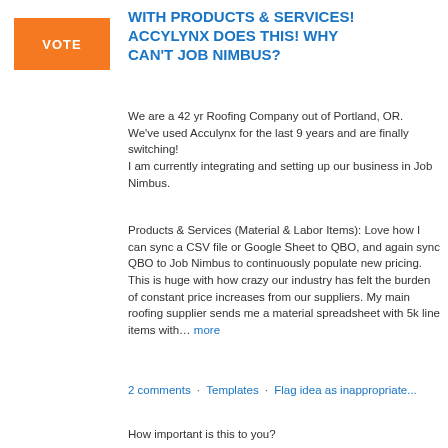WITH PRODUCTS & SERVICES! ACCYLYNX DOES THIS! WHY CAN'T JOB NIMBUS?
We are a 42 yr Roofing Company out of Portland, OR.
We've used Acculynx for the last 9 years and are finally switching!
I am currently integrating and setting up our business in Job Nimbus.
Products & Services (Material & Labor Items): Love how I can sync a CSV file or Google Sheet to QBO, and again sync QBO to Job Nimbus to continuously populate new pricing. This is huge with how crazy our industry has felt the burden of constant price increases from our suppliers. My main roofing supplier sends me a material spreadsheet with 5k line items with… more
2 comments · Templates · Flag idea as inappropriate...
How important is this to you?